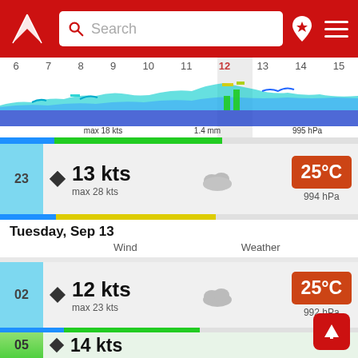Search bar header with Windy app logo, search field, location pin icon and menu icon
[Figure (continuous-plot): Hourly timeline chart showing wind/wave data from hour 6 to 15, with a highlighted column at hour 12. Labels: max 18 kts, 1.4 mm, 995 hPa]
max 18 kts   1.4 mm   995 hPa
23   ▶ 13 kts
max 28 kts
25°C
994 hPa
Tuesday, Sep 13
Wind   Weather
02   ▶ 12 kts
max 23 kts
25°C
992 hPa
05   ◀ 14 kts
max 22 kts
2 mm
23°C
991 hPa
08   ◀ 18 kts
22°C